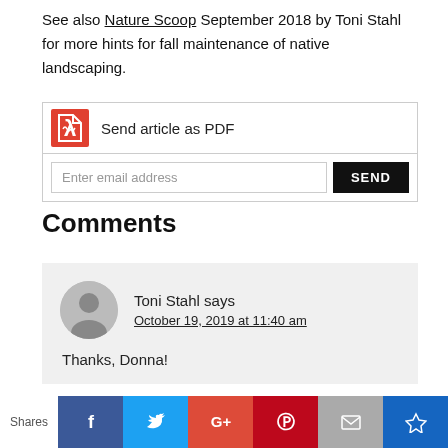See also Nature Scoop September 2018 by Toni Stahl for more hints for fall maintenance of native landscaping.
[Figure (other): Send article as PDF widget with email input and SEND button]
Comments
[Figure (other): Comment from Toni Stahl on October 19, 2019 at 11:40 am saying Thanks, Donna!]
[Figure (other): Social share bar with Facebook, Twitter, Google+, Pinterest, Email, and bookmark icons]